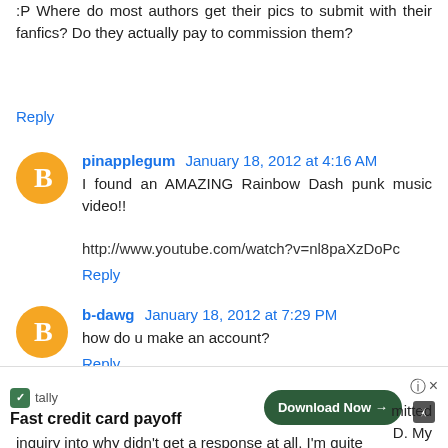:P Where do most authors get their pics to submit with their fanfics? Do they actually pay to commission them?
Reply
pinapplegum  January 18, 2012 at 4:16 AM
I found an AMAZING Rainbow Dash punk music video!!

http://www.youtube.com/watch?v=nl8paXzDoPc
Reply
b-dawg  January 18, 2012 at 7:29 PM
how do u make an account?
Reply
D1st0rtedFate  January 21, 2012 at 11:23 PM
...mitted
D. My
inquiry into why didn't get a response at all. I'm quite
[Figure (infographic): Tally app advertisement banner: 'Fast credit card payoff' with Download Now button, close and help controls]